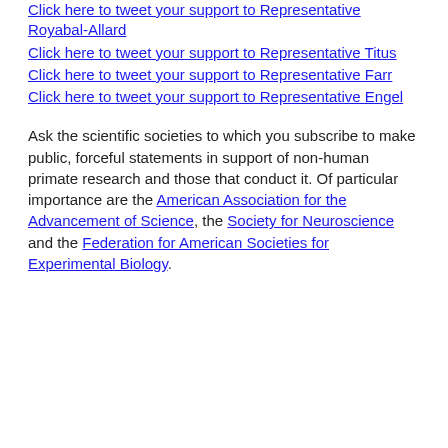Click here to tweet your support to Representative Royabal-Allard
Click here to tweet your support to Representative Titus
Click here to tweet your support to Representative Farr
Click here to tweet your support to Representative Engel
Ask the scientific societies to which you subscribe to make public, forceful statements in support of non-human primate research and those that conduct it. Of particular importance are the American Association for the Advancement of Science, the Society for Neuroscience and the Federation for American Societies for Experimental Biology.